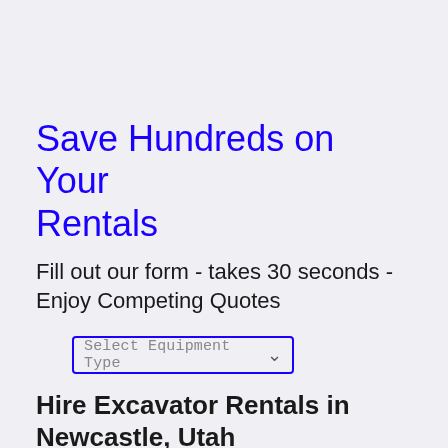Save Hundreds on Your Rentals
Fill out our form - takes 30 seconds - Enjoy Competing Quotes
[Figure (other): Dropdown form element labeled 'Select Equipment Type' with a blue border and a chevron arrow on the right]
Hire Excavator Rentals in Newcastle, Utah
If you own a construction company, run a warehouse or have a goods transport business in